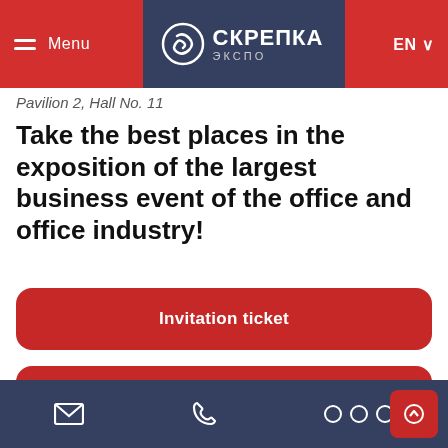Menu | СКРЕПКА ЭКСПО | EN
Pavilion 2, Hall No. 11
Take the best places in the exposition of the largest business event of the office and office industry!
Invitation ticket
Request form for the participation
List of participants
Detailed information on participation can be obtained from the exhibition management:
Email | Phone | Social links